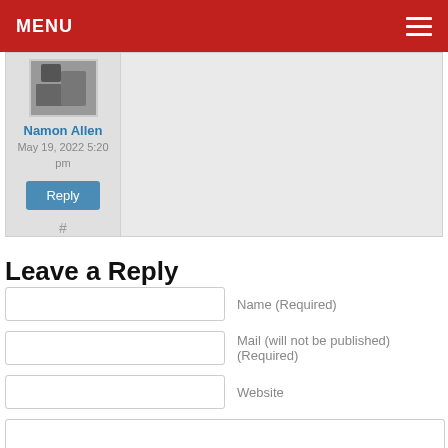MENU
Namon Allen
May 19, 2022 5:20 pm
Reply
#
Leave a Reply
Name (Required)
Mail (will not be published) (Required)
Website